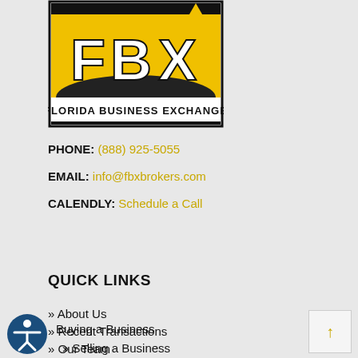[Figure (logo): FBX Florida Business Exchange logo — yellow and black with stylized FBX letters]
PHONE: (888) 925-5055
EMAIL: info@fbxbrokers.com
CALENDLY: Schedule a Call
QUICK LINKS
» About Us
» Recent Transactions
» Our Team
Buying a Business
» Selling a Business